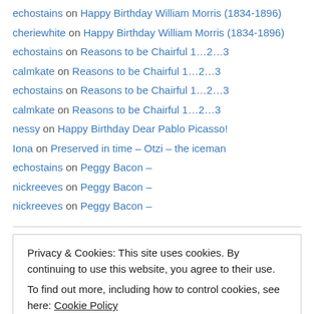echostains on Happy Birthday William Morris (1834-1896)
cheriewhite on Happy Birthday William Morris (1834-1896)
echostains on Reasons to be Chairful 1…2…3
calmkate on Reasons to be Chairful 1…2…3
echostains on Reasons to be Chairful 1…2…3
calmkate on Reasons to be Chairful 1…2…3
nessy on Happy Birthday Dear Pablo Picasso!
Iona on Preserved in time – Otzi – the iceman
echostains on Peggy Bacon –
nickreeves on Peggy Bacon –
nickreeves on Peggy Bacon –
Privacy & Cookies: This site uses cookies. By continuing to use this website, you agree to their use. To find out more, including how to control cookies, see here: Cookie Policy
Close and accept